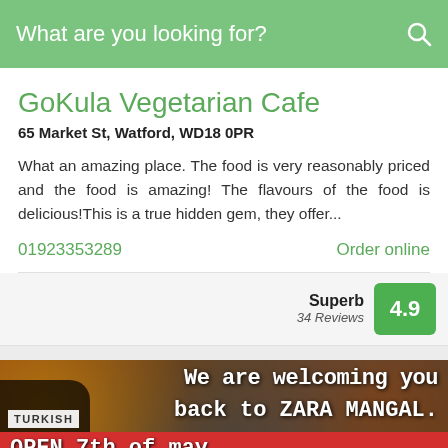What are you looking for?
GoKula Vegetarian Cafe
65 Market St, Watford, WD18 0PR
What an amazing place. The food is very reasonably priced and the food is amazing! The flavours of the food is delicious!This is a true hidden gem, they offer...
01923353289
Order online
Superb 34 Reviews 4.9
[Figure (photo): Restaurant promotional image for Zara Mangal Turkish restaurant with text overlay: 'We are welcoming you back to ZARA MANGAL. OPEN 7th of may. PICK UP']